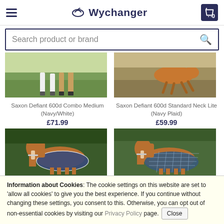Wychanger
Search product or brand
[Figure (photo): Horse legs on grass – product photo for Saxon Defiant 600d Combo Medium (Navy/White)]
Saxon Defiant 600d Combo Medium (Navy/White)
£71.99
[Figure (photo): Horse running on field – product photo for Saxon Defiant 600d Standard Neck Lite (Navy Plaid)]
Saxon Defiant 600d Standard Neck Lite (Navy Plaid)
£59.99
[Figure (photo): Chestnut horse wearing navy rug in garden setting]
[Figure (photo): Chestnut horse wearing plaid rug in garden setting]
Information about Cookies: The cookie settings on this website are set to 'allow all cookies' to give you the best experience. If you continue without changing these settings, you consent to this. Otherwise, you can opt out of non-essential cookies by visiting our Privacy Policy page. Close